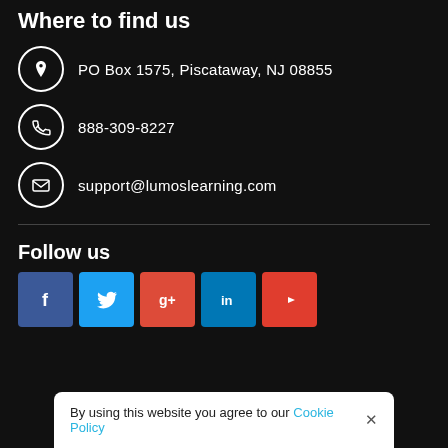Where to find us
PO Box 1575, Piscataway, NJ 08855
888-309-8227
support@lumoslearning.com
Follow us
[Figure (infographic): Social media buttons: Facebook (blue), Twitter (light blue), Google+ (orange-red), LinkedIn (blue), YouTube (red)]
By using this website you agree to our Cookie Policy ×